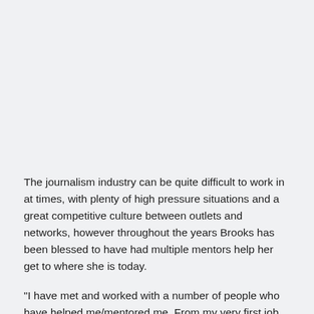The journalism industry can be quite difficult to work in at times, with plenty of high pressure situations and a great competitive culture between outlets and networks, however throughout the years Brooks has been blessed to have had multiple mentors help her get to where she is today.
"I have met and worked with a number of people who have helped me/mentored me. From my very first job at NINE, Senior sports reporter Tim Sheridan took me under his wing and really helped me. He would take me out on shoots with him and have me write my own